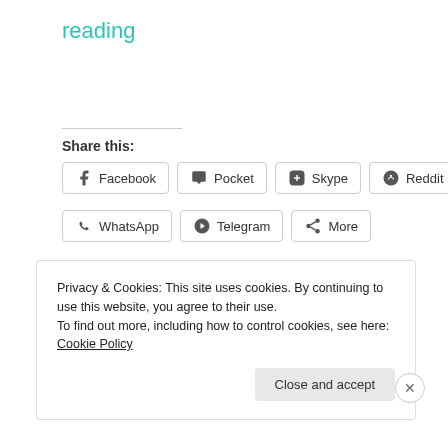reading
Share this:
Facebook  Pocket  Skype  Reddit  WhatsApp  Telegram  More
Loading...
Privacy & Cookies: This site uses cookies. By continuing to use this website, you agree to their use.
To find out more, including how to control cookies, see here: Cookie Policy
Close and accept